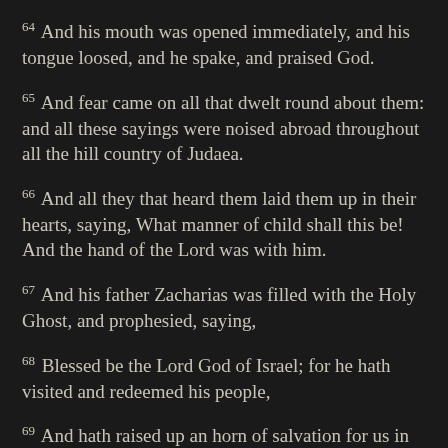64 And his mouth was opened immediately, and his tongue loosed, and he spake, and praised God.
65 And fear came on all that dwelt round about them: and all these sayings were noised abroad throughout all the hill country of Judaea.
66 And all they that heard them laid them up in their hearts, saying, What manner of child shall this be! And the hand of the Lord was with him.
67 And his father Zacharias was filled with the Holy Ghost, and prophesied, saying,
68 Blessed be the Lord God of Israel; for he hath visited and redeemed his people,
69 And hath raised up an horn of salvation for us in the house of his servant David;
70 As he spake by the mouth of his holy prophets, which have been since the world began:
71 That we should be saved from our enemies, and from the hand of